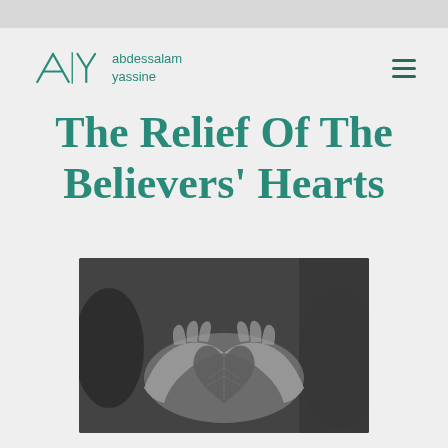abdessalam yassine
The Relief Of The Believers' Hearts
[Figure (photo): Black and white photograph of elderly hands cupping a dried heart-shaped leaf]